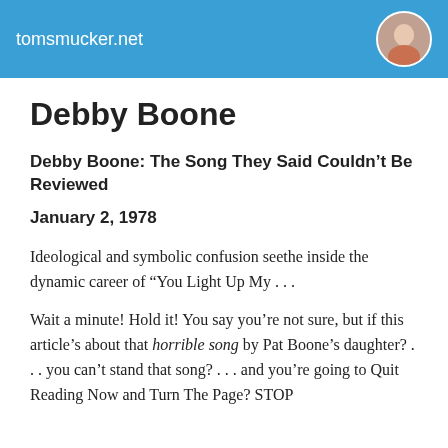tomsmucker.net
Debby Boone
Debby Boone: The Song They Said Couldn’t Be Reviewed
January 2, 1978
Ideological and symbolic confusion seethe inside the dynamic career of “You Light Up My . . .
Wait a minute! Hold it! You say you’re not sure, but if this article’s about that horrible song by Pat Boone’s daughter? . . . you can’t stand that song? . . . and you’re going to Quit Reading Now and Turn The Page? STOP